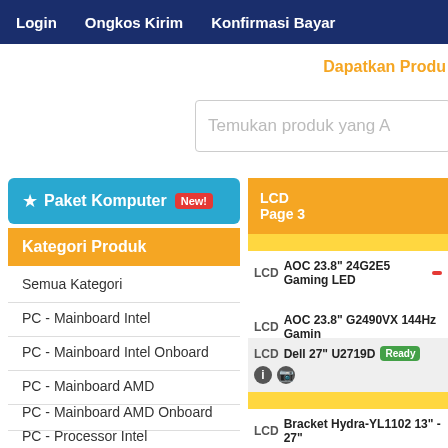Login  Ongkos Kirim  Konfirmasi Bayar
Dapatkan Produ
Temukan produk yang A
★ Paket Komputer  New!
Kategori Produk
Semua Kategori
PC - Mainboard Intel
PC - Mainboard Intel Onboard
PC - Mainboard AMD
PC - Mainboard AMD Onboard
PC - Processor Intel
PC - RAM
PC - Processor AMD
LCD  Page 3
LCD  AOC 23.8" 24G2E5 Gaming LED
LCD  AOC 23.8" G2490VX 144Hz Gamin
LCD  Dell 27" U2719D  Ready
LCD  Bracket Hydra-YL1102 13" - 27"